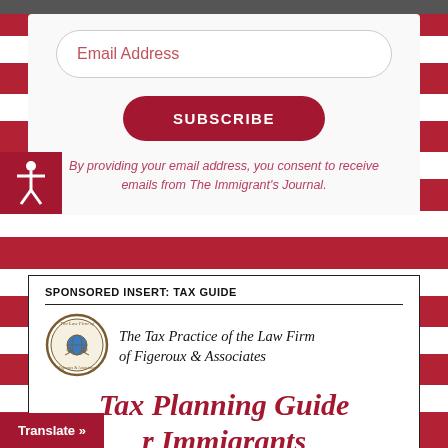[Figure (other): Top image strip - partial photo of American flag/scene]
Email Address
SUBSCRIBE
By providing your email address, you consent to receive emails from The Immigrant's Journal.
SPONSORED INSERT: TAX GUIDE
[Figure (logo): The Law Firm of Figeroux & Associates circular logo with globe and scales of justice]
The Tax Practice of the Law Firm of Figeroux & Associates
Tax Planning Guide for Immigrants